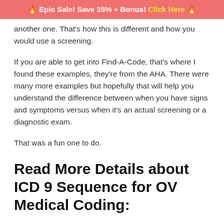🔥 Epic Sale! Save 35% + Bonus! Click Here 🔥
another one. That's how this is different and how you would use a screening.
If you are able to get into Find-A-Code, that's where I found these examples, they're from the AHA. There were many more examples but hopefully that will help you understand the difference between when you have signs and symptoms versus when it's an actual screening or a diagnostic exam.
That was a fun one to do.
Read More Details about ICD 9 Sequence for OV Medical Coding: